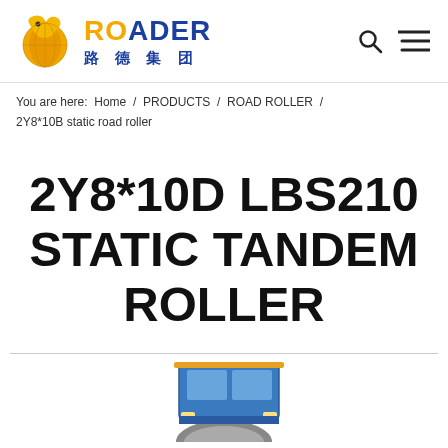ROADER 路德集团
You are here: Home / PRODUCTS / ROAD ROLLER / 2Y8*10B static road roller
2Y8*10D LBS210 STATIC TANDEM ROLLER
[Figure (photo): Partial photo of a static tandem roller machine, showing the top portion of the cab and front drum, cut off at the bottom of the page.]